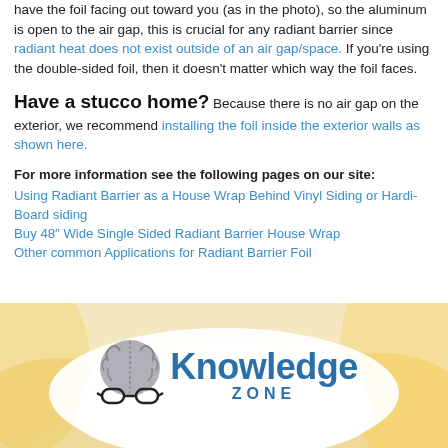have the foil facing out toward you (as in the photo), so the aluminum is open to the air gap, this is crucial for any radiant barrier since radiant heat does not exist outside of an air gap/space. If you're using the double-sided foil, then it doesn't matter which way the foil faces.
Have a stucco home? Because there is no air gap on the exterior, we recommend installing the foil inside the exterior walls as shown here.
For more information see the following pages on our site: Using Radiant Barrier as a House Wrap Behind Vinyl Siding or Hardi-Board siding | Buy 48" Wide Single Sided Radiant Barrier House Wrap | Other common Applications for Radiant Barrier Foil
[Figure (illustration): Knowledge Zone banner with brain wearing glasses logo and colorful cloud/sun background]